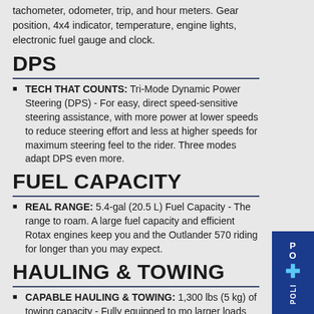tachometer, odometer, trip, and hour meters. Gear position, 4x4 indicator, temperature, engine lights, electronic fuel gauge and clock.
DPS
TECH THAT COUNTS: Tri-Mode Dynamic Power Steering (DPS) - For easy, direct speed-sensitive steering assistance, with more power at lower speeds to reduce steering effort and less at higher speeds for maximum steering feel to the rider. Three modes adapt DPS even more.
FUEL CAPACITY
REAL RANGE: 5.4-gal (20.5 L) Fuel Capacity - The range to roam. A large fuel capacity and efficient Rotax engines keep you and the Outlander 570 riding for longer than you may expect.
HAULING & TOWING
CAPABLE HAULING & TOWING: 1,300 lbs (5 kg) of towing capacity - Fully equipped to mo larger loads with ease, the Outlander has a standard rear hitch plate and impressive 1,30